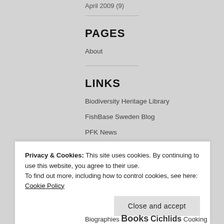April 2009 (9)
PAGES
About
LINKS
Biodiversity Heritage Library
FishBase Sweden Blog
PFK News
Privacy & Cookies: This site uses cookies. By continuing to use this website, you agree to their use.
To find out more, including how to control cookies, see here: Cookie Policy
Close and accept
Biographies Books Cichlids Cooking